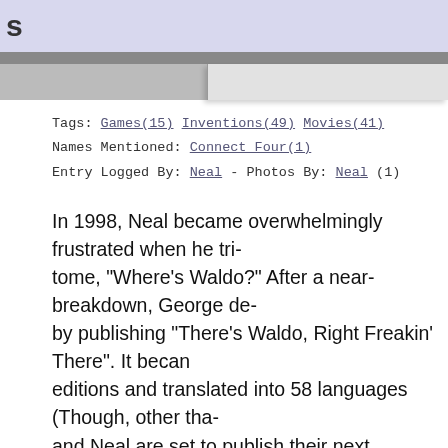s
Tags:  Games(15)  Inventions(49)  Movies(41)
Names Mentioned:  Connect Four(1)
Entry Logged By:  Neal - Photos By:  Neal (1)
In 1998, Neal became overwhelmingly frustrated when he tri- tome, "Where's Waldo?" After a near-breakdown, George de- by publishing "There's Waldo, Right Freakin' There". It becan editions and translated into 58 languages (Though, other tha- and Neal are set to publish their next traumatic/educational b-
[Figure (illustration): Illustrated scene of a school or public building exterior with people, a red car, a blue bus, trees, and a yellow building corner. Cartoon/Where's Waldo style illustration.]